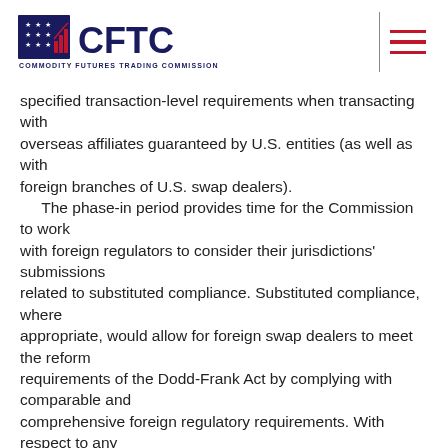CFTC — COMMODITY FUTURES TRADING COMMISSION
specified transaction-level requirements when transacting with overseas affiliates guaranteed by U.S. entities (as well as with foreign branches of U.S. swap dealers).
    The phase-in period provides time for the Commission to work with foreign regulators to consider their jurisdictions' submissions related to substituted compliance. Substituted compliance, where appropriate, would allow for foreign swap dealers to meet the reform requirements of the Dodd-Frank Act by complying with comparable and comprehensive foreign regulatory requirements. With respect to any transaction with a U.S. person, though, compliance will be required in accordance with previously issued rules and staff